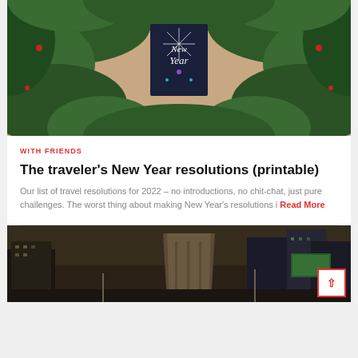[Figure (photo): New Year themed photo: pine/fir tree branches surrounding a dark navy card with 'New Year' in white cursive lettering, on a wooden surface background]
WITH FRIENDS
The traveler's New Year resolutions (printable)
Our list of travel resolutions for 2022 – no introductions, no chit-chat, just pure challenges. The worst thing about making New Year's resolutions i Read More
[Figure (photo): City street scene at dusk with tall buildings, cars, and a distinctive flat-iron style building in the center, dark moody tones]